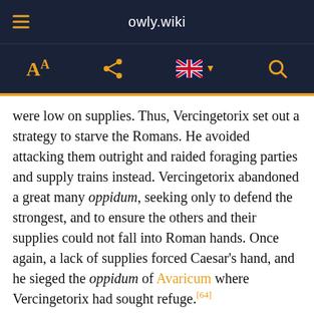owly.wiki
were low on supplies. Thus, Vercingetorix set out a strategy to starve the Romans. He avoided attacking them outright and raided foraging parties and supply trains instead. Vercingetorix abandoned a great many oppidum, seeking only to defend the strongest, and to ensure the others and their supplies could not fall into Roman hands. Once again, a lack of supplies forced Caesar's hand, and he sieged the oppidum of Avaricum where Vercingetorix had sought refuge.[64]
Originally, Vercingetorix had been opposed to defending Avaricum, but the Bituriges Cubi